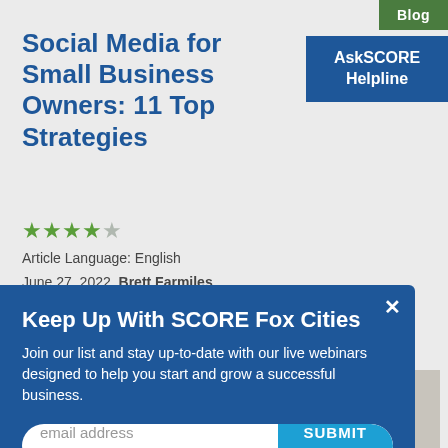Blog
AskSCORE Helpline
Social Media for Small Business Owners: 11 Top Strategies
★★★★☆
Article Language: English
June 27, 2022  Brett Farmiles
Keep Up With SCORE Fox Cities
Join our list and stay up-to-date with our live webinars designed to help you start and grow a successful business.
email address
SUBMIT
[Figure (photo): Woman smiling wearing a red top with a yellow measuring tape around her neck, green plant in background, yellow dress form mannequin to the right]